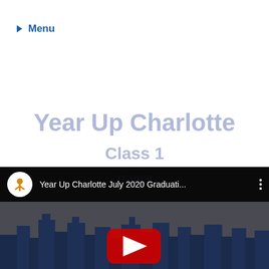▶ Menu
Year Up Charlotte
Class 1
[Figure (screenshot): YouTube video thumbnail showing 'Year Up Charlotte July 2020 Graduati...' with Year Up channel icon, city skyline silhouette, and YouTube play button overlay on dark background.]